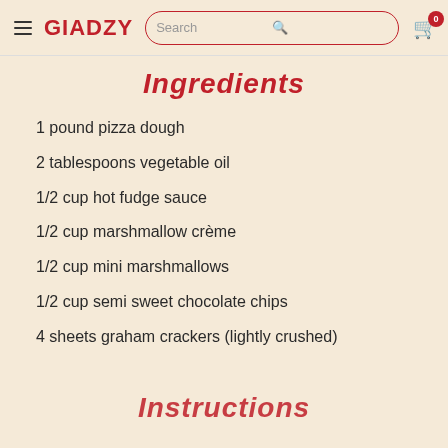GIADZY — Search — Cart 0
Ingredients
1 pound pizza dough
2 tablespoons vegetable oil
1/2 cup hot fudge sauce
1/2 cup marshmallow crème
1/2 cup mini marshmallows
1/2 cup semi sweet chocolate chips
4 sheets graham crackers (lightly crushed)
Instructions